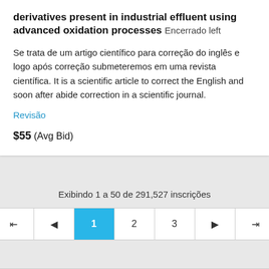derivatives present in industrial effluent using advanced oxidation processes  Encerrado left
Se trata de um artigo científico para correção do inglês e logo após correção submeteremos em uma revista científica. It is a scientific article to correct the English and soon after abide correction in a scientific journal.
Revisão
$55  (Avg Bid)
Exibindo 1 a 50 de 291,527 inscrições
1 2 3